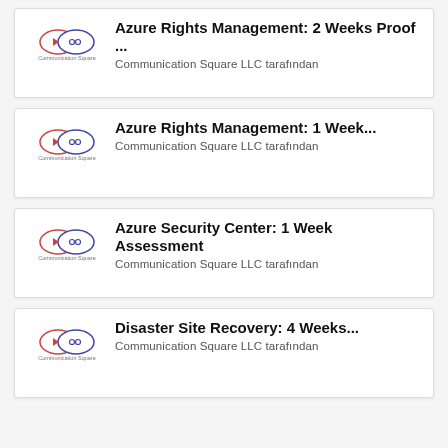[Figure (logo): Communication Square LLC logo — two overlapping circles/ovals with small icons inside, pink and blue, with text 'Communication Square' below]
Azure Rights Management: 2 Weeks Proof ...
Communication Square LLC tarafından
[Figure (logo): Communication Square LLC logo — two overlapping circles/ovals with small icons inside, pink and blue, with text 'Communication Square' below]
Azure Rights Management: 1 Week...
Communication Square LLC tarafından
[Figure (logo): Communication Square LLC logo — two overlapping circles/ovals with small icons inside, pink and blue, with text 'Communication Square' below]
Azure Security Center: 1 Week Assessment
Communication Square LLC tarafından
[Figure (logo): Communication Square LLC logo — two overlapping circles/ovals with small icons inside, pink and blue, with text 'Communication Square' below]
Disaster Site Recovery: 4 Weeks...
Communication Square LLC tarafından